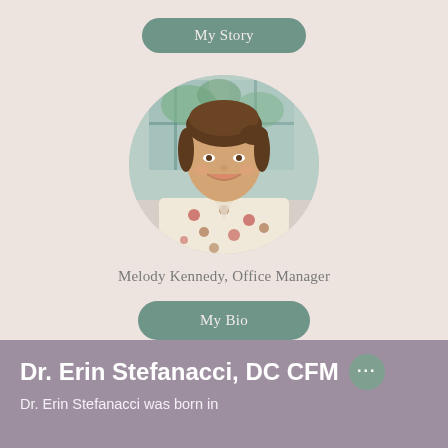My Story
[Figure (photo): Circular profile photo of Melody Kennedy, Office Manager, a woman with brown hair pulled back, smiling, wearing a floral patterned top, standing in front of a window with greenery outside.]
Melody Kennedy, Office Manager
My Bio
Dr. Erin Stefanacci, DC CFM...
Dr. Erin Stefanacci was born in